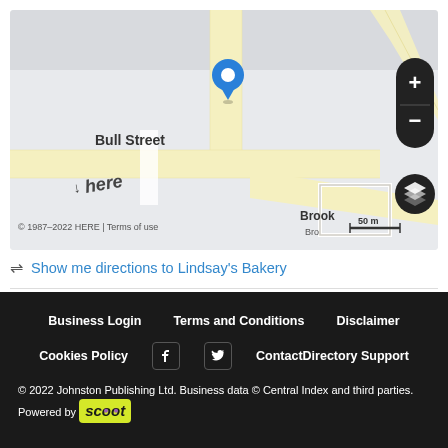[Figure (map): Street map centered on a location pin at Bull Street area. Shows roads including Bull Street and Brook road. Map includes zoom controls (+/-) and layer toggle button. Scale bar shows 50 m. HERE map copyright 1987-2022.]
Show me directions to Lindsay's Bakery
Business Login    Terms and Conditions    Disclaimer
Cookies Policy    [Facebook]    [Twitter]    ContactDirectory Support
© 2022 Johnston Publishing Ltd. Business data © Central Index and third parties. Powered by scoot